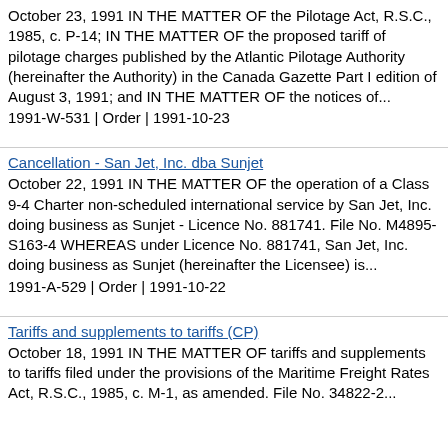October 23, 1991 IN THE MATTER OF the Pilotage Act, R.S.C., 1985, c. P-14; IN THE MATTER OF the proposed tariff of pilotage charges published by the Atlantic Pilotage Authority (hereinafter the Authority) in the Canada Gazette Part I edition of August 3, 1991; and IN THE MATTER OF the notices of... 1991-W-531 | Order | 1991-10-23
Cancellation - San Jet, Inc. dba Sunjet
October 22, 1991 IN THE MATTER OF the operation of a Class 9-4 Charter non-scheduled international service by San Jet, Inc. doing business as Sunjet - Licence No. 881741. File No. M4895-S163-4 WHEREAS under Licence No. 881741, San Jet, Inc. doing business as Sunjet (hereinafter the Licensee) is... 1991-A-529 | Order | 1991-10-22
Tariffs and supplements to tariffs (CP)
October 18, 1991 IN THE MATTER OF tariffs and supplements to tariffs filed under the provisions of the Maritime Freight Rates Act, R.S.C., 1985, c. M-1, as amended. File No. 34822-2...